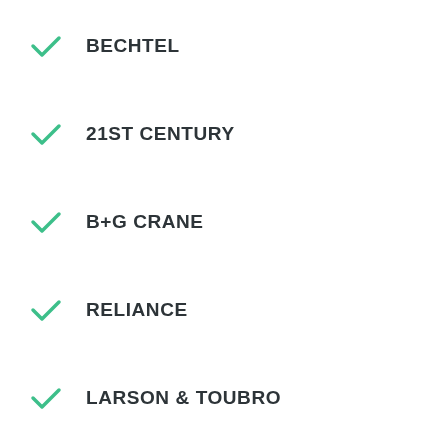BECHTEL
21ST CENTURY
B+G CRANE
RELIANCE
LARSON & TOUBRO